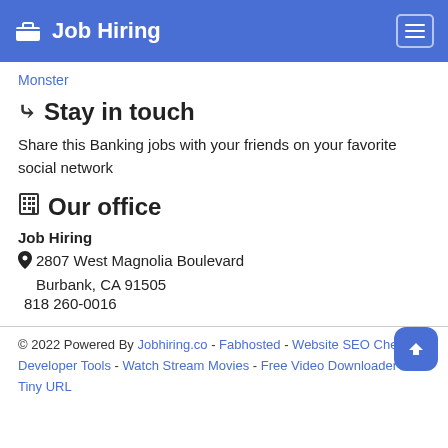Job Hiring
Monster
Stay in touch
Share this Banking jobs with your friends on your favorite social network
Our office
Job Hiring
2807 West Magnolia Boulevard
Burbank, CA 91505
818 260-0016
© 2022 Powered By Jobhiring.co - Fabhosted - Website SEO Checker - Developer Tools - Watch Stream Movies - Free Video Downloader - Tiny URL